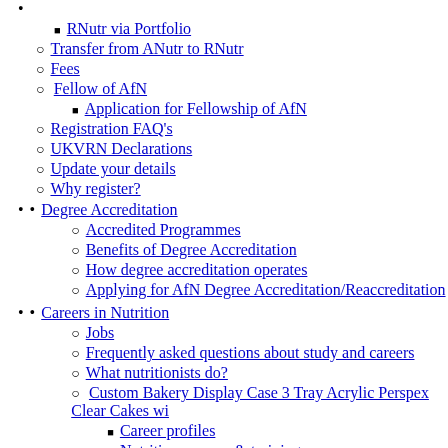RNutr via Portfolio
Transfer from ANutr to RNutr
Fees
Fellow of AfN
Application for Fellowship of AfN
Registration FAQ's
UKVRN Declarations
Update your details
Why register?
Degree Accreditation
Accredited Programmes
Benefits of Degree Accreditation
How degree accreditation operates
Applying for AfN Degree Accreditation/Reaccreditation
Careers in Nutrition
Jobs
Frequently asked questions about study and careers
What nutritionists do?
Custom Bakery Display Case 3 Tray Acrylic Perspex Clear Cakes wi
Career profiles
Nutrition courses & training
Finding work & Work experience
Studying nutrition as a career change